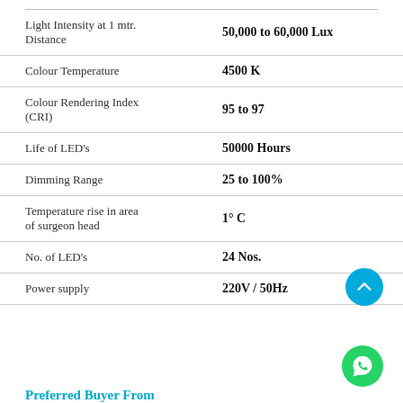| Parameter | Value |
| --- | --- |
| Light Intensity at 1 mtr. Distance | 50,000 to 60,000 Lux |
| Colour Temperature | 4500 K |
| Colour Rendering Index (CRI) | 95 to 97 |
| Life of LED's | 50000 Hours |
| Dimming Range | 25 to 100% |
| Temperature rise in area of surgeon head | 1° C |
| No. of LED's | 24 Nos. |
| Power supply | 220V / 50Hz |
Preferred Buyer From